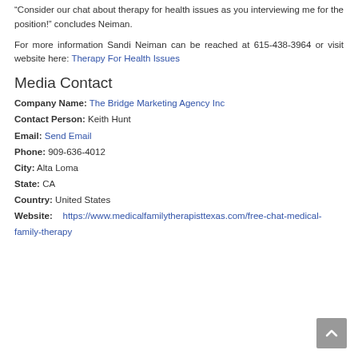“Consider our chat about therapy for health issues as you interviewing me for the position!” concludes Neiman.
For more information Sandi Neiman can be reached at 615-438-3964 or visit website here: Therapy For Health Issues
Media Contact
Company Name: The Bridge Marketing Agency Inc
Contact Person: Keith Hunt
Email: Send Email
Phone: 909-636-4012
City: Alta Loma
State: CA
Country: United States
Website: https://www.medicalfamilytherapisttexas.com/free-chat-medical-family-therapy